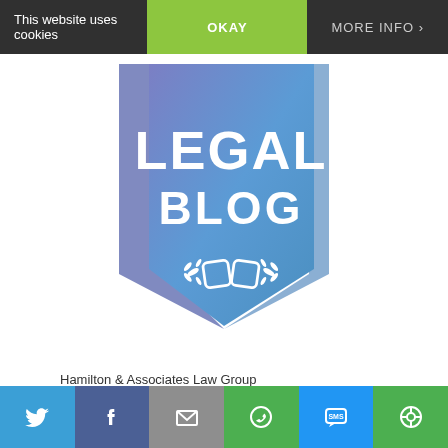This website uses cookies  OKAY  MORE INFO
[Figure (logo): Legal Blog badge/shield logo with blue-purple gradient background, white text 'LEGAL BLOG' and a linked rings emblem with laurel wreath]
Hamilton & Associates Law Group
101 Plaza Real South
Suite 202 North
Boca Raton, Florida 33432
Phone: 561-416-8956
Fax: 561-416-2855
[Figure (infographic): Social media share bar with Twitter, Facebook, Email, WhatsApp, SMS, and share icons]